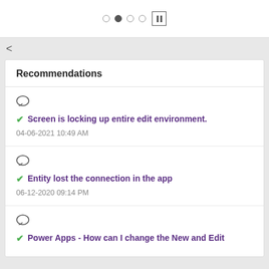[Figure (screenshot): Pagination dots and pause button navigation controls]
Recommendations
Screen is locking up entire edit environment. 04-06-2021 10:49 AM
Entity lost the connection in the app 06-12-2020 09:14 PM
Power Apps - How can I change the New and Edit